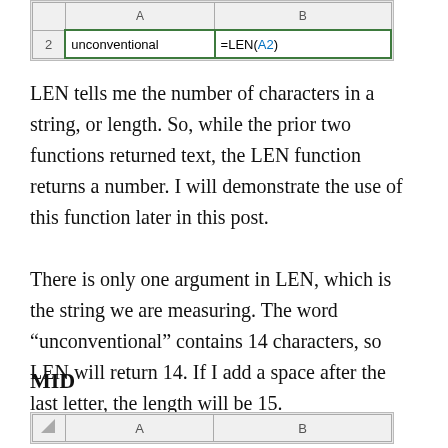[Figure (screenshot): Spreadsheet screenshot showing row 2 with 'unconventional' in cell A2 and '=LEN(A2)' formula in cell B2, both cells highlighted with green borders.]
LEN tells me the number of characters in a string, or length. So, while the prior two functions returned text, the LEN function returns a number. I will demonstrate the use of this function later in this post.
There is only one argument in LEN, which is the string we are measuring. The word “unconventional” contains 14 characters, so LEN will return 14. If I add a space after the last letter, the length will be 15.
MID
[Figure (screenshot): Spreadsheet screenshot showing the header row with columns A and B, partially visible at the bottom of the page.]